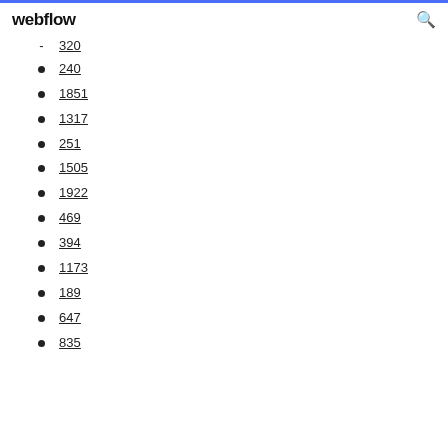webflow
320
240
1851
1317
251
1505
1922
469
394
1173
189
647
835